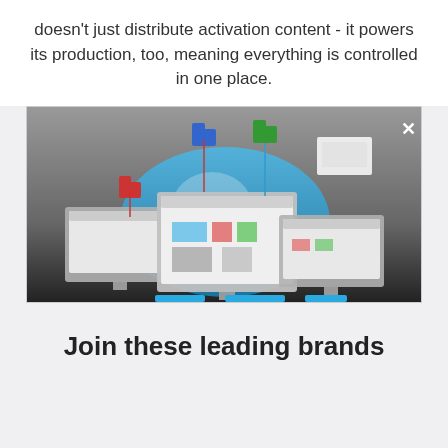doesn't just distribute activation content - it powers its production, too, meaning everything is controlled in one place.
[Figure (screenshot): Screenshot of a software interface showing multiple monitor displays with a blue globe/world graphic in the background, folder icons (red, blue, green) connected by vertical red and blue lines, and an X close button in the top right corner.]
Join these leading brands